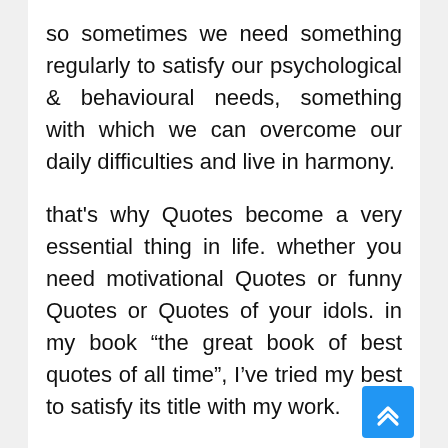so sometimes we need something regularly to satisfy our psychological & behavioural needs, something with which we can overcome our daily difficulties and live in harmony.
that's why Quotes become a very essential thing in life. whether you need motivational Quotes or funny Quotes or Quotes of your idols. in my book “the great book of best quotes of all time”, I’ve tried my best to satisfy its title with my work.
For an instance, ‘the great’, to my sense